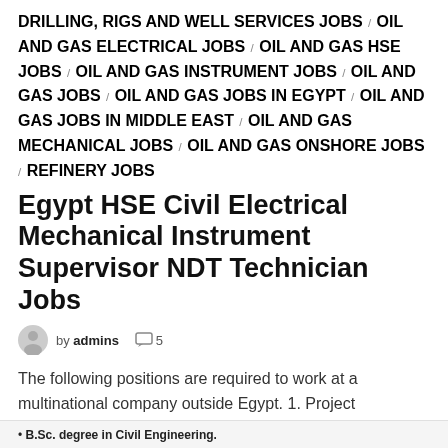DRILLING, RIGS AND WELL SERVICES JOBS / OIL AND GAS ELECTRICAL JOBS / OIL AND GAS HSE JOBS / OIL AND GAS INSTRUMENT JOBS / OIL AND GAS JOBS / OIL AND GAS JOBS IN EGYPT / OIL AND GAS JOBS IN MIDDLE EAST / OIL AND GAS MECHANICAL JOBS / OIL AND GAS ONSHORE JOBS / REFINERY JOBS
Egypt HSE Civil Electrical Mechanical Instrument Supervisor NDT Technician Jobs
by admins  5
The following positions are required to work at a multinational company outside Egypt. 1. Project Manager2. Site Engineer3. HSE Manager4. HSE Supervisor5. Civil/Structural Engineer6. Fabrication …
• B.Sc. degree in Civil Engineering.